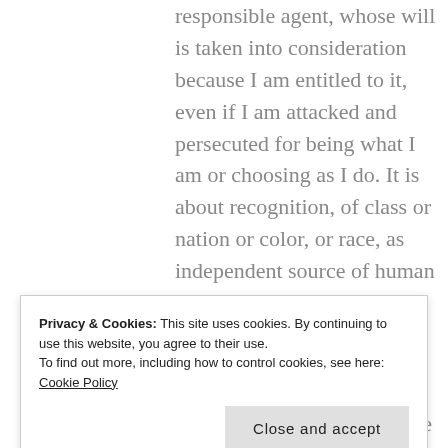responsible agent, whose will is taken into consideration because I am entitled to it, even if I am attacked and persecuted for being what I am or choosing as I do. It is about recognition, of class or nation or color, or race, as independent source of human activity, as an entity with a will of its own, intending to act in accordance with it, whether it is good or legitimate, or not, and not to be ruled, educated, guided, with however light a hand, as being not quite fully
Privacy & Cookies: This site uses cookies. By continuing to use this website, you agree to their use.
To find out more, including how to control cookies, see here: Cookie Policy
many, and not all of them are in